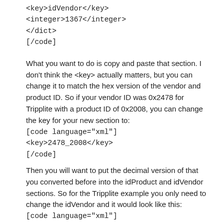<key>idVendor</key>
<integer>1367</integer>
</dict>
[/code]
What you want to do is copy and paste that section. I don't think the <key> actually matters, but you can change it to match the hex version of the vendor and product ID. So if your vendor ID was 0x2478 for Tripplite with a product ID of 0x2008, you can change the key for your new section to:
[code language="xml"]
<key>2478_2008</key>
[/code]
Then you will want to put the decimal version of that you converted before into the idProduct and idVendor sections. So for the Tripplite example you only need to change the idVendor and it would look like this:
[code language="xml"]
<key>idVendor</key>
<integer>9336</integer>